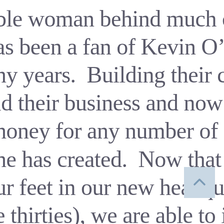ble woman behind much of the as been a fan of Kevin O'Brien ny years.  Building their company ld their business and now Jane has honey for any number of good he has created.  Now that we at ur feet in our new headquarters (a e thirties), we are able to invite sign facility.  So it became clear